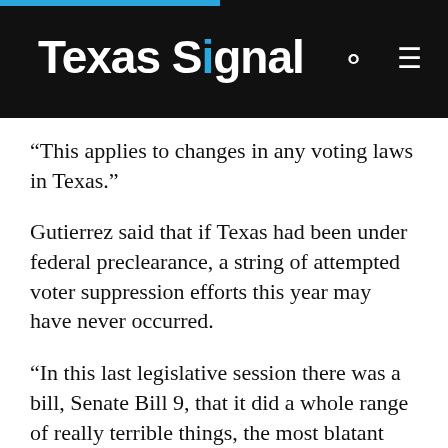Texas Signal
“This applies to changes in any voting laws in Texas.”
Gutierrez said that if Texas had been under federal preclearance, a string of attempted voter suppression efforts this year may have never occurred.
“In this last legislative session there was a bill, Senate Bill 9, that it did a whole range of really terrible things, the most blatant one that people point to is that if you made a mistake on a voter registration form whether it was deliberate or